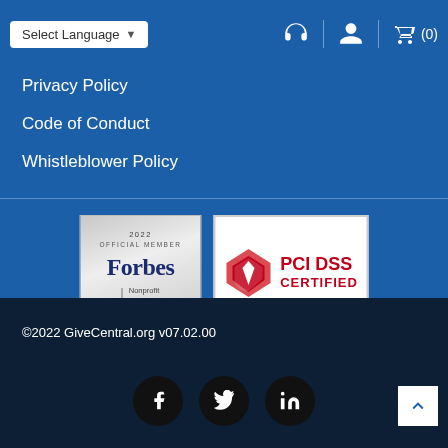Select Language (0)
Privacy Policy
Code of Conduct
Whistleblower Policy
[Figure (logo): 2022 Official Member Forbes Nonprofit Council badge on grey gradient background]
[Figure (logo): PCI DSS Certified by Panacea InfoSec badge on white background]
©2022 GiveCentral.org v07.02.00
[Figure (infographic): Social media icons: Facebook, Twitter, LinkedIn as dark circular buttons]